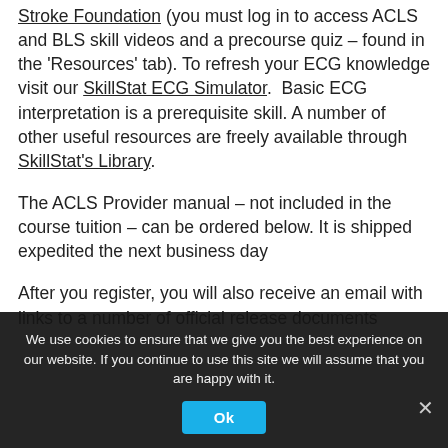Stroke Foundation (you must log in to access ACLS and BLS skill videos and a precourse quiz – found in the 'Resources' tab). To refresh your ECG knowledge visit our SkillStat ECG Simulator. Basic ECG interpretation is a prerequisite skill. A number of other useful resources are freely available through SkillStat's Library.
The ACLS Provider manual – not included in the course tuition – can be ordered below. It is shipped expedited the next business day
After you register, you will also receive an email with links to a number of official release documents
We use cookies to ensure that we give you the best experience on our website. If you continue to use this site we will assume that you are happy with it.